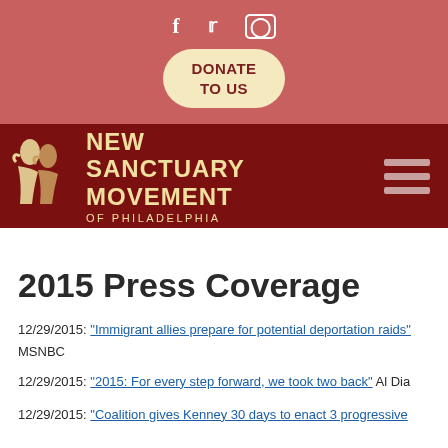[Figure (logo): Social media icons (Facebook, Twitter, Instagram) and DONATE TO US button on salmon/red background]
[Figure (logo): New Sanctuary Movement of Philadelphia logo on dark red background with hamburger menu icon]
2015 Press Coverage
12/29/2015: "Immigrant allies prepare for potential deportation raids" MSNBC
12/29/2015: "2015: For every step forward, we took two back" Al Dia
12/29/2015: "Coalition gives Kenney 30 days to enact 3 progressive (partial, cut off)